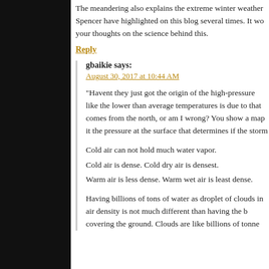The meandering also explains the extreme winter weather Spencer have highlighted on this blog several times. It wo your thoughts on the science behind this.
Reply
gbaikie says:
August 30, 2017 at 10:44 AM
“Havent they just got the origin of the high-pressure like the lower than average temperatures is due to that comes from the north, or am I wrong? You show a map it the pressure at the surface that determines if the storm
Cold air can not hold much water vapor.
Cold air is dense. Cold dry air is densest.
Warm air is less dense. Warm wet air is least dense.
Having billions of tons of water as droplet of clouds in air density is not much different than having the b covering the ground. Clouds are like billions of tonne